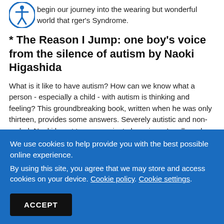begin our journey into the wearing but wonderful world that [accessibility icon] rger's Syndrome.
* The Reason I Jump: one boy's voice from the silence of autism by Naoki Higashida
What is it like to have autism? How can we know what a person - especially a child - with autism is thinking and feeling? This groundbreaking book, written when he was only thirteen, provides some answers. Severely autistic and non-verbal, Naoki learnt to communicate by using a 'cardboard
We use cookies to help provide you with the best possible online experience.
By using this site, you agree that we may store and access cookies on your device. Cookie policy. Cookie settings.
ACCEPT